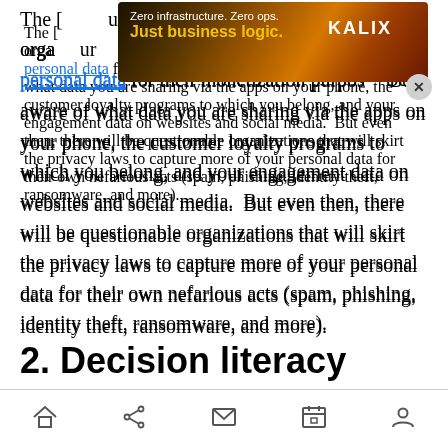The [organizations use your] personal data for their monetization purposes. Be aware of what data you are sharing via the apps on your phone, the customer loyalty programs to which you belong, and your engagement data on websites and social media.  But even then, there will be questionable organizations that will skirt the privacy laws to capture more of your personal data for their own nefarious acts (spam, phishing, identity theft, ransomware, and more).
[Figure (other): Advertisement banner for KALIX: 'Zero infrastructure. Zero ops. Just business logic.' with a close button (X)]
2. Decision literacy
Navigation bar with home, share, mail, calendar, and profile icons